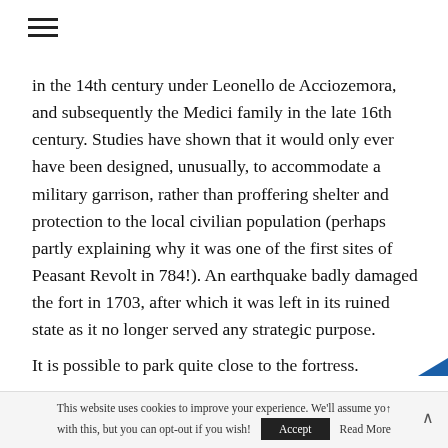≡
in the 14th century under Leonello de Acciozemora, and subsequently the Medici family in the late 16th century. Studies have shown that it would only ever have been designed, unusually, to accommodate a military garrison, rather than proffering shelter and protection to the local civilian population (perhaps partly explaining why it was one of the first sites of Peasant Revolt in 784!). An earthquake badly damaged the fort in 1703, after which it was left in its ruined state as it no longer served any strategic purpose.
It is possible to park quite close to the fortress.
This website uses cookies to improve your experience. We'll assume you're ok with this, but you can opt-out if you wish! Accept Read More